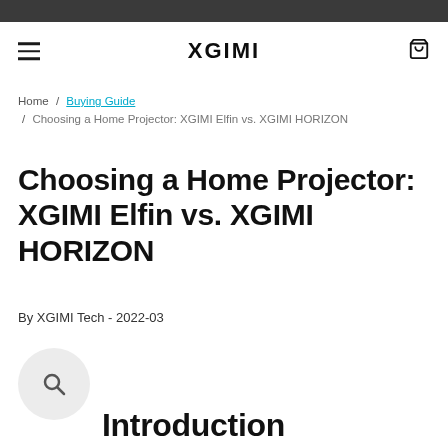XGIMI
Home / Buying Guide / Choosing a Home Projector: XGIMI Elfin vs. XGIMI HORIZON
Choosing a Home Projector: XGIMI Elfin vs. XGIMI HORIZON
By XGIMI Tech - 2022-03
Introduction